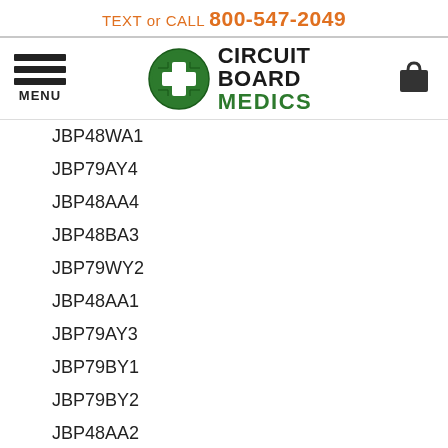TEXT or CALL 800-547-2049
[Figure (logo): Circuit Board Medics logo with green circle containing a white medical cross, and text 'CIRCUIT BOARD MEDICS']
JBP48WA1
JBP79AY4
JBP48AA4
JBP48BA3
JBP79WY2
JBP48AA1
JBP79AY3
JBP79BY1
JBP79BY2
JBP48AA2
JBP48AA3
JBP48BA1
JBP48BA2
JBP48WA3
JBP79AY1
JBP79AY2
JBP79BY3